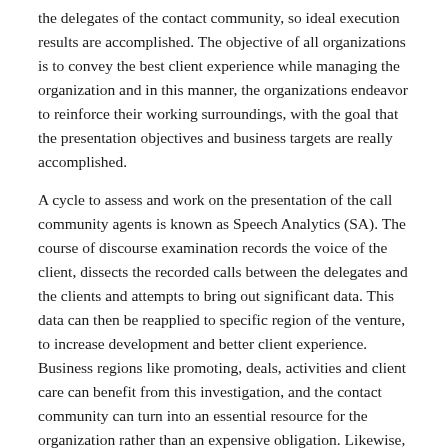the delegates of the contact community, so ideal execution results are accomplished. The objective of all organizations is to convey the best client experience while managing the organization and in this manner, the organizations endeavor to reinforce their working surroundings, with the goal that the presentation objectives and business targets are really accomplished.
A cycle to assess and work on the presentation of the call community agents is known as Speech Analytics (SA). The course of discourse examination records the voice of the client, dissects the recorded calls between the delegates and the clients and attempts to bring out significant data. This data can then be reapplied to specific region of the venture, to increase development and better client experience. Business regions like promoting, deals, activities and client care can benefit from this investigation, and the contact community can turn into an essential resource for the organization rather than an expensive obligation. Likewise, the discourse examination can give the managers the device to prepare and assess the staff, so collaborations with the clients can move along.
Incorporation of discourse examination into a business can be extremely useful whenever applied completely. A portion of the